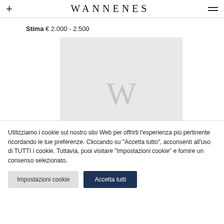+ WANNENES =
Stima € 2.000 - 2.500
[Figure (logo): Gray placeholder image box with large watermark letter W in light gray]
Utilizziamo i cookie sul nostro sito Web per offrirti l'esperienza più pertinente ricordando le tue preferenze. Cliccando su "Accetta tutto", acconsenti all'uso di TUTTI i cookie. Tuttavia, puoi visitare "Impostazioni cookie" e fornire un consenso selezionato.
Impostazioni cookie | Accetta tutti